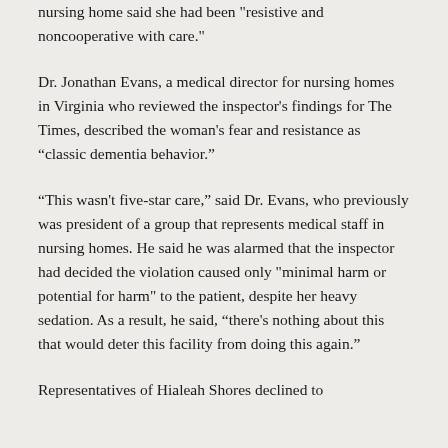nursing home said she had been 'resistive and noncooperative with care.'
Dr. Jonathan Evans, a medical director for nursing homes in Virginia who reviewed the inspector's findings for The Times, described the woman's fear and resistance as “classic dementia behavior.”
“This wasn't five-star care,” said Dr. Evans, who previously was president of a group that represents medical staff in nursing homes. He said he was alarmed that the inspector had decided the violation caused only "minimal harm or potential for harm" to the patient, despite her heavy sedation. As a result, he said, “there's nothing about this that would deter this facility from doing this again.”
Representatives of Hialeah Shores declined to